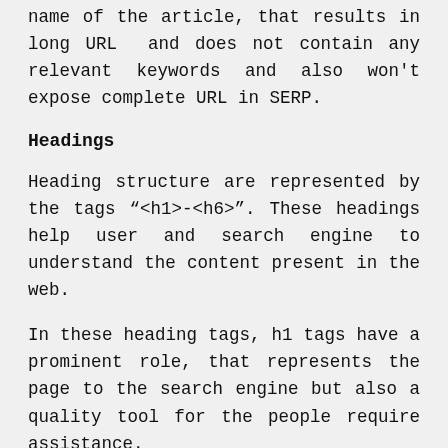name of the article, that results in long URL  and does not contain any relevant keywords and also won't expose complete URL in SERP.
Headings
Heading structure are represented by the tags "<h1>-<h6>". These headings help user and search engine to understand the content present in the web.
In these heading tags, h1 tags have a prominent role, that represents the page to the search engine but also a quality tool for the people require assistance.
H1 best practices: